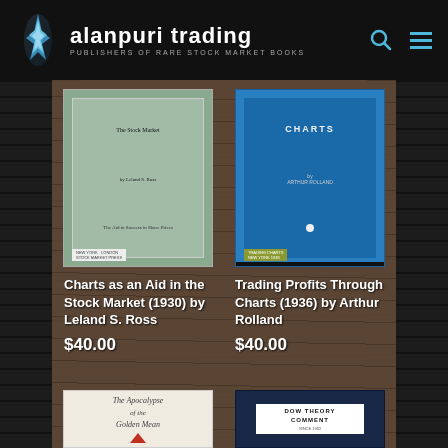alanpuri trading — PUBLISHERS OF RARE STOCK MARKET BOOKS
[Figure (photo): Two vintage book covers displayed on a wood-grain background. Left: 'Charts as an Aid in the Stock Market' (1930) by Leland S. Ross, green/grey cover. Right: 'Trading Profits Through Charts' (1936) by Arthur Rolland, blue cover.]
Charts as an Aid in the Stock Market (1930) by Leland S. Ross
$40.00
Trading Profits Through Charts (1936) by Arthur Rolland
$40.00
[Figure (photo): Two more vintage book covers partially visible at bottom. Left: 'The Apocalypse of the Golden Mean', cream/white cover with red illustration. Right: 'DOW THEORY COMMENT' dark navy blue cover.]